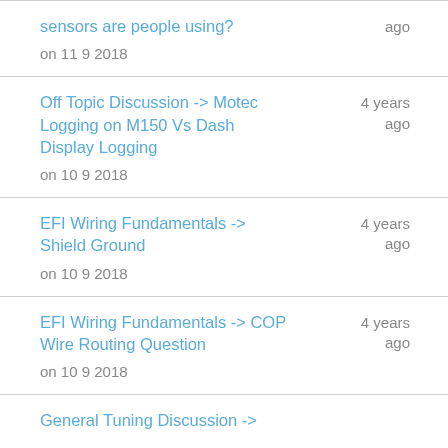sensors are people using? on 11 9 2018 | ago
Off Topic Discussion -> Motec Logging on M150 Vs Dash Display Logging on 10 9 2018 | 4 years ago
EFI Wiring Fundamentals -> Shield Ground on 10 9 2018 | 4 years ago
EFI Wiring Fundamentals -> COP Wire Routing Question on 10 9 2018 | 4 years ago
General Tuning Discussion ->